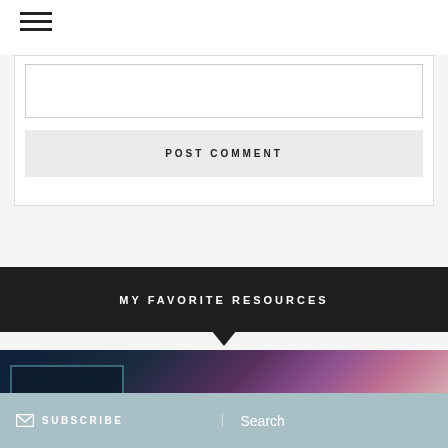[Figure (other): Hamburger menu icon (three horizontal lines) in the top-left corner]
[Figure (other): Partial comment form area showing a text input box with border]
POST COMMENT
MY FAVORITE RESOURCES
[Figure (photo): Partial image with dark teal and purple/pink abstract or aerial texture, with a dark overlay rectangle on the left side]
SUBSCRIBE
Search